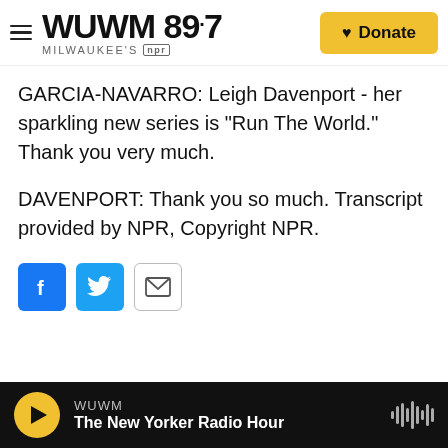WUWM 89.7 MILWAUKEE'S NPR | Donate
GARCIA-NAVARRO: Leigh Davenport - her sparkling new series is "Run The World." Thank you very much.
DAVENPORT: Thank you so much. Transcript provided by NPR, Copyright NPR.
[Figure (other): Social sharing buttons: Facebook (blue), Twitter (blue), Email (outlined)]
WUWM | The New Yorker Radio Hour